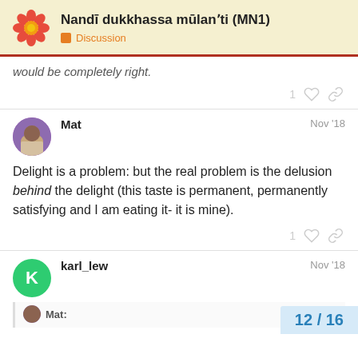Nandī dukkhassa mūlanʼti (MN1) — Discussion
would be completely right.
1 ♡ 🔗
Mat — Nov '18
Delight is a problem: but the real problem is the delusion behind the delight (this taste is permanent, permanently satisfying and I am eating it- it is mine).
1 ♡ 🔗
karl_lew — Nov '18
Mat:
12 / 16